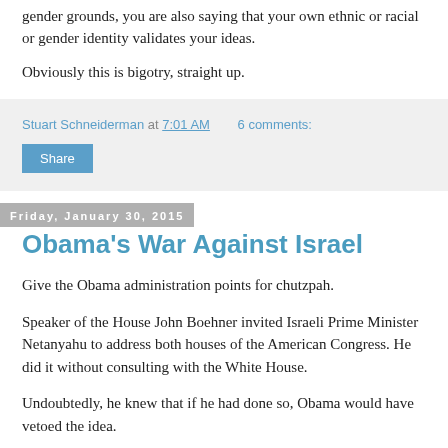gender grounds, you are also saying that your own ethnic or racial or gender identity validates your ideas.
Obviously this is bigotry, straight up.
Stuart Schneiderman at 7:01 AM   6 comments:
Share
Friday, January 30, 2015
Obama's War Against Israel
Give the Obama administration points for chutzpah.
Speaker of the House John Boehner invited Israeli Prime Minister Netanyahu to address both houses of the American Congress. He did it without consulting with the White House.
Undoubtedly, he knew that if he had done so, Obama would have vetoed the idea.